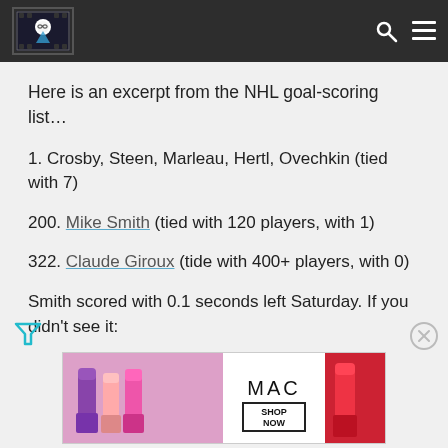[Site logo] [Search icon] [Menu icon]
Here is an excerpt from the NHL goal-scoring list…
1. Crosby, Steen, Marleau, Hertl, Ovechkin (tied with 7)
200. Mike Smith (tied with 120 players, with 1)
322. Claude Giroux (tide with 400+ players, with 0)
Smith scored with 0.1 seconds left Saturday. If you didn't see it:
[Figure (illustration): Filter icon (teal funnel) on the left and close button (circle with X) on the right, above an advertisement banner]
[Figure (screenshot): MAC cosmetics advertisement showing lipsticks on left and right with MAC branding and SHOP NOW button in center]